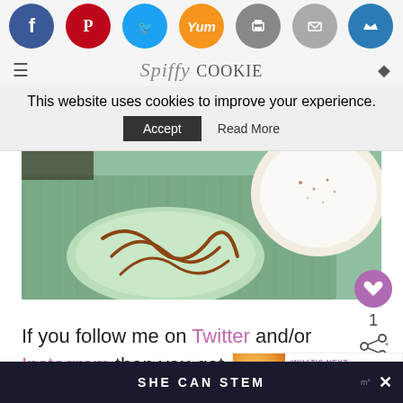[Figure (screenshot): Website header with social media share buttons (Facebook, Pinterest, Twitter, Yummly, Print, Email, Crown) as colored circular icons]
[Figure (logo): Spyffy Cookie website logo with hamburger menu and search icon]
This website uses cookies to improve your experience.
Accept   Read More
[Figure (photo): Close-up food photo showing a cookie with chocolate drizzle on a teal/mint colored surface next to a white plate with a hot drink]
If you follow me on Twitter and/or Instagram then you got a glimpse into the eggified week (if you don't follow me, what are you waiting for
[Figure (infographic): What's Next widget showing BBQ Deviled Eggs with thumbnail image]
SHE CAN STEM